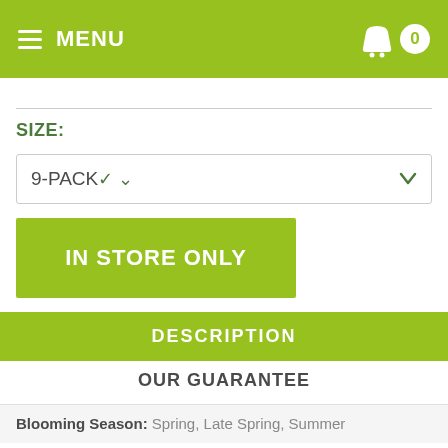MENU  0
SIZE:
9-PACK
IN STORE ONLY
DESCRIPTION
OUR GUARANTEE
Blooming Season: Spring, Late Spring, Summer